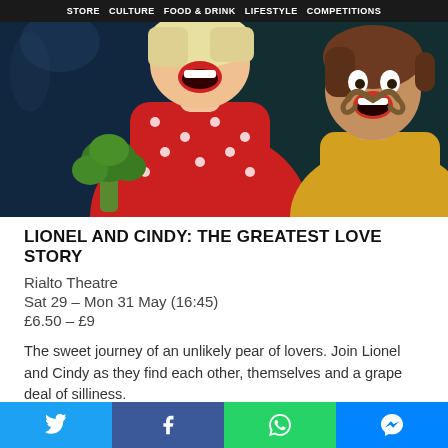STORE  CULTURE  FOOD & DRINK  LIFESTYLE  COMPETITIONS
[Figure (photo): Two performers: a woman in a red polka-dot dress holding broccoli laughing with mouth open, and a man with a large curly mustache in a yellow top also with mouth open, against a dark stage background.]
LIONEL AND CINDY: THE GREATEST LOVE STORY
Rialto Theatre
Sat 29 – Mon 31 May (16:45)
£6.50 – £9
The sweet journey of an unlikely pear of lovers. Join Lionel and Cindy as they find each other, themselves and a grape deal of silliness.
Guava Belewe Arts presents a spectacle for all ages. Come with